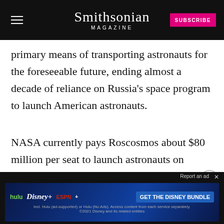Smithsonian MAGAZINE
primary means of transporting astronauts for the foreseeable future, ending almost a decade of reliance on Russia’s space program to launch American astronauts.
NASA currently pays Roscosmos about $80 million per seat to launch astronauts on Soyuz spacecraft. But after this week’s SpaceX flight, if post-mission review determines the flight had no issues, we could see astronauts climbing aboard the Cr…
[Figure (screenshot): Advertisement banner: GET THE DISNEY BUNDLE with hulu, Disney+, ESPN+ logos. Fine print: Incl. Hulu (ad-supported) or Hulu (No Ads). Access content from each service separately. ©2021 Disney and its related entities. Report an ad label visible.]